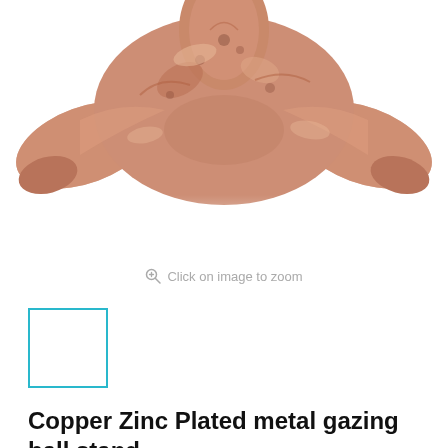[Figure (photo): Close-up photo of a copper zinc plated metal gazing ball stand — a rose-gold/copper coloured star-shaped metal stand, cropped to show the upper portion against a white background.]
Click on image to zoom
[Figure (photo): Small thumbnail image of the product (blank/white placeholder with cyan border indicating active selection).]
Copper Zinc Plated metal gazing ball stand